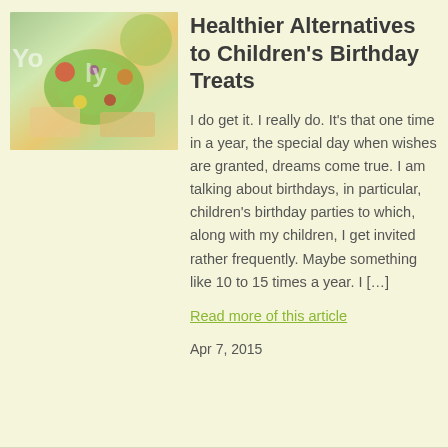[Figure (photo): Photo of healthy food items on a table, including fruits and vegetables arranged on plates and bowls, colorful party-style food spread]
Healthier Alternatives to Children's Birthday Treats
I do get it. I really do. It's that one time in a year, the special day when wishes are granted, dreams come true. I am talking about birthdays, in particular, children's birthday parties to which, along with my children, I get invited rather frequently. Maybe something like 10 to 15 times a year. I […]
Read more of this article
Apr 7, 2015